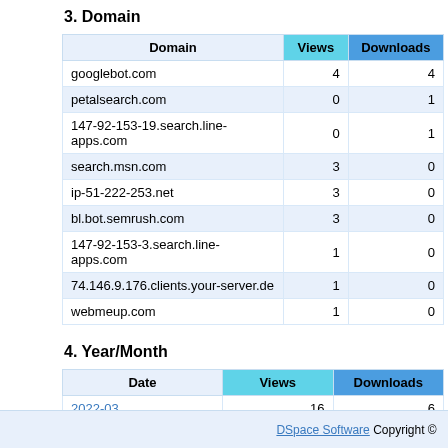3. Domain
| Domain | Views | Downloads |
| --- | --- | --- |
| googlebot.com | 4 | 4 |
| petalsearch.com | 0 | 1 |
| 147-92-153-19.search.line-apps.com | 0 | 1 |
| search.msn.com | 3 | 0 |
| ip-51-222-253.net | 3 | 0 |
| bl.bot.semrush.com | 3 | 0 |
| 147-92-153-3.search.line-apps.com | 1 | 0 |
| 74.146.9.176.clients.your-server.de | 1 | 0 |
| webmeup.com | 1 | 0 |
4. Year/Month
| Date | Views | Downloads |
| --- | --- | --- |
| 2022-03 | 16 | 6 |
DSpace Software Copyright ©